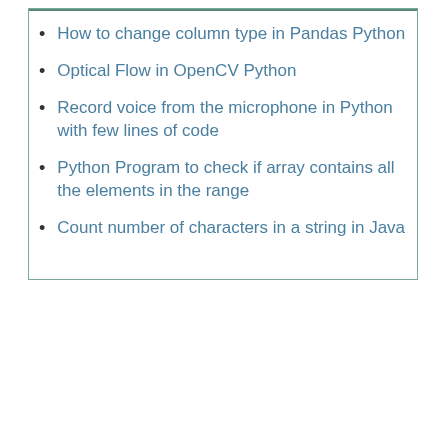How to change column type in Pandas Python
Optical Flow in OpenCV Python
Record voice from the microphone in Python with few lines of code
Python Program to check if array contains all the elements in the range
Count number of characters in a string in Java